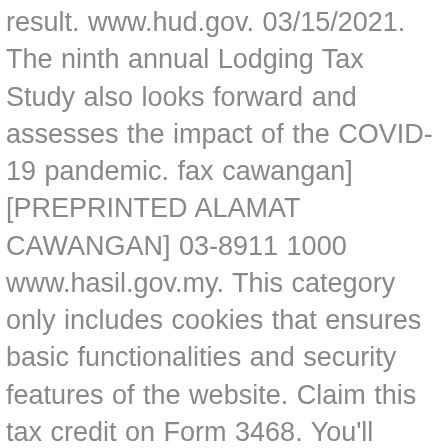result. www.hud.gov. 03/15/2021. The ninth annual Lodging Tax Study also looks forward and assesses the impact of the COVID-19 pandemic. fax cawangan] [PREPRINTED ALAMAT CAWANGAN] 03-8911 1000 www.hasil.gov.my. This category only includes cookies that ensures basic functionalities and security features of the website. Claim this tax credit on Form 3468. You'll need to submit IRS Form 8911 (instructions here) to claim the credit. Those who wish to forward enquiries and feedback may contact the IRB through the Hasil Care Line at 03-8911 1000 / 603-8911 1100 (outside Malaysia), HASiL Live Chat or the feedback form … SOLVED • by Intuit • Lacerte Tax • 2 • Updated July 21, 2020. Form 8911 (Rev. These cookies do not store any personal information. Smygöppning av VEMA Motor·Skog·Trädgård i Vemdalen by. No. Form 3468 is a general investment tax credit that includes several different credits. The PCR mix for class I, II and III integrons comprised: 12.5 µl 2X Taq PCR MasterMix, including Taq DNA polymerase, dNTPs, reaction buffer and MgCl 2, 0.5 µl each of